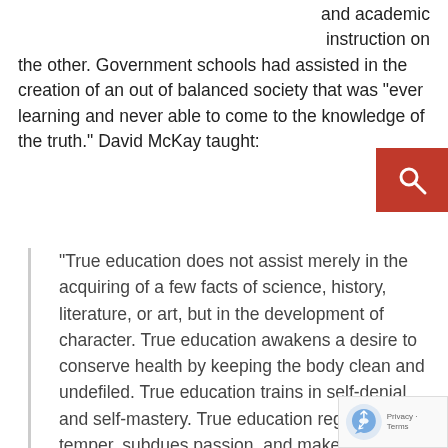and academic instruction on the other. Government schools had assisted in the creation of an out of balanced society that was “ever learning and never able to come to the knowledge of the truth.” David McKay taught:
“True education does not assist merely in the acquiring of a few facts of science, history, literature, or art, but in the development of character. True education awakens a desire to conserve health by keeping the body clean and undefiled. True education trains in self-denial and self-mastery. True education regulates the temper, subdues passion, and makes obedience to social laws and moral order a guiding